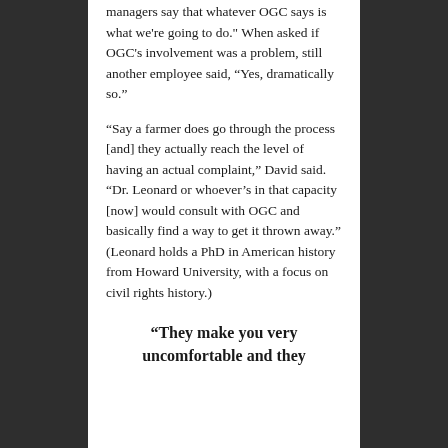managers say that whatever OGC says is what we're going to do." When asked if OGC's involvement was a problem, still another employee said, “Yes, dramatically so."
“Say a farmer does go through the process [and] they actually reach the level of having an actual complaint,” David said. “Dr. Leonard or whoever’s in that capacity [now] would consult with OGC and basically find a way to get it thrown away.” (Leonard holds a PhD in American history from Howard University, with a focus on civil rights history.)
“They make you very uncomfortable and they